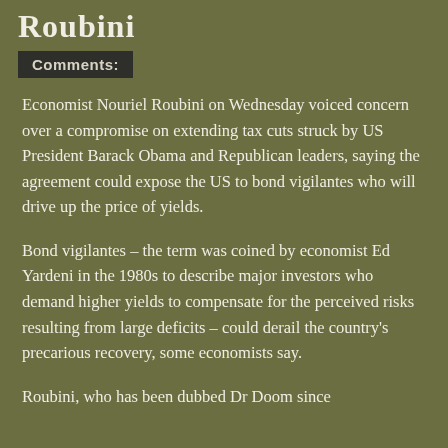Roubini
Comments:
Economist Nouriel Roubini on Wednesday voiced concern over a compromise on extending tax cuts struck by US President Barack Obama and Republican leaders, saying the agreement could expose the US to bond vigilantes who will drive up the price of yields.
Bond vigilantes – the term was coined by economist Ed Yardeni in the 1980s to describe major investors who demand higher yields to compensate for the perceived risks resulting from large deficits – could derail the country's precarious recovery, some economists say.
Roubini, who has been dubbed Dr Doom since